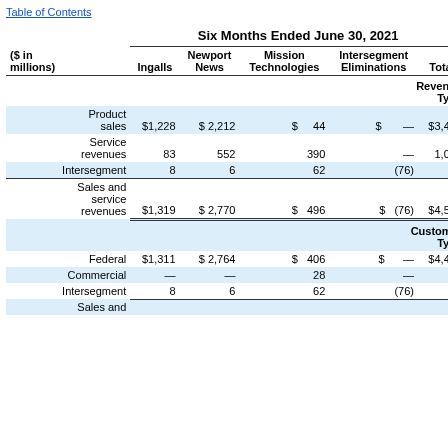Table of Contents
| ($ in millions) | Ingalls | Newport News | Mission Technologies | Intersegment Eliminations | Total |
| --- | --- | --- | --- | --- | --- |
| Revenue Type |  |  |  |  |  |
| Product sales | $1,228 | $ 2,212 | $  44 | $  — | $3,484 |
| Service revenues | 83 | 552 | 390 | — | 1,025 |
| Intersegment | 8 | 6 | 62 | (76) | — |
| Sales and service revenues | $1,319 | $ 2,770 | $  496 | $  (76) | $4,509 |
| Customer Type |  |  |  |  |  |
| Federal | $1,311 | $ 2,764 | $  406 | $  — | $4,481 |
| Commercial | — | — | 28 | — | 28 |
| Intersegment | 8 | 6 | 62 | (76) | — |
| Sales and service revenues |  |  |  |  |  |